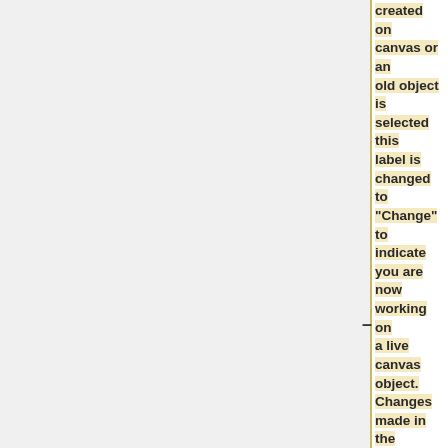created on canvas or an old object is selected this label is changed to "Change" to indicate you are now working on a live canvas object. Changes made in the toolbar are reflected immediately on the canvas, however changes on the canvas are not always immediately reflected on the toolbar. In